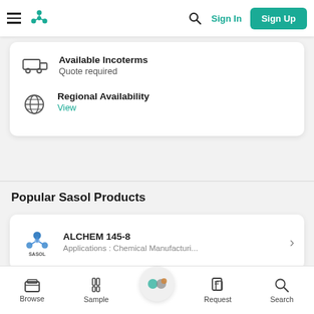Sign In | Sign Up
Available Incoterms
Quote required
Regional Availability
View
Popular Sasol Products
ALCHEM 145-8
Applications : Chemical Manufacturi...
Browse | Sample | Request | Search